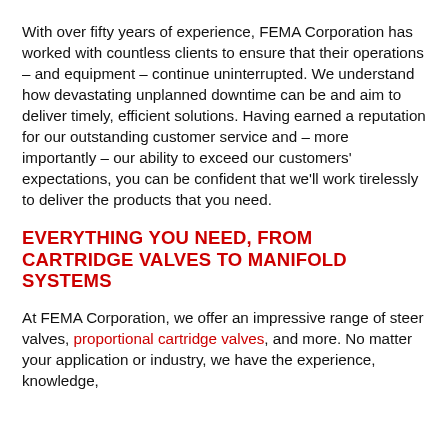With over fifty years of experience, FEMA Corporation has worked with countless clients to ensure that their operations – and equipment – continue uninterrupted. We understand how devastating unplanned downtime can be and aim to deliver timely, efficient solutions. Having earned a reputation for our outstanding customer service and – more importantly – our ability to exceed our customers' expectations, you can be confident that we'll work tirelessly to deliver the products that you need.
EVERYTHING YOU NEED, FROM CARTRIDGE VALVES TO MANIFOLD SYSTEMS
At FEMA Corporation, we offer an impressive range of steer valves, proportional cartridge valves, and more. No matter your application or industry, we have the experience, knowledge,